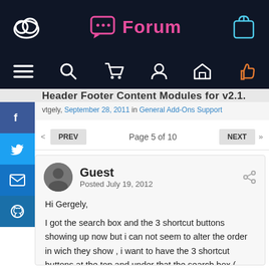[Figure (screenshot): Forum website top navigation bar with dark navy background, cloud logo on left, pink Forum icon and title in center, gift box icon on right]
[Figure (screenshot): Navigation icon bar with hamburger menu, search, cart, user, home, and thumbs-up icons on dark navy background]
Header Footer Content Modules for v2.1.x
vtgely, September 28, 2011 in General Add-Ons Support
PREV   Page 5 of 10   NEXT
Guest
Posted July 19, 2012
Hi Gergely,

I got the search box and the 3 shortcut buttons showing up now but i can not seem to alter the order in wich they show , i want to have the 3 shortcut buttons at the top and under that the search box ( wich i would like to be just above the picture for the categories).